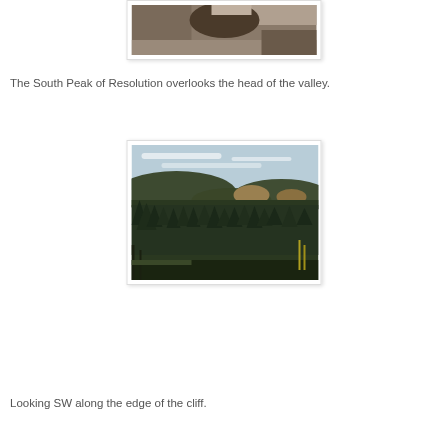[Figure (photo): Partial view of a person outdoors on rocky terrain with rocks and sparse vegetation visible.]
The South Peak of Resolution overlooks the head of the valley.
[Figure (photo): Landscape photo looking SW along a forested mountain ridge with dense evergreen trees, rolling hills, light brown patches, and a cloudy sky.]
Looking SW along the edge of the cliff.